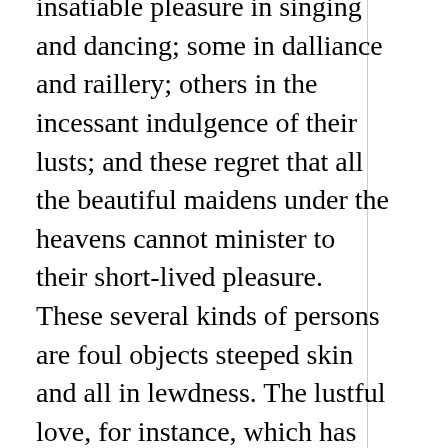insatiable pleasure in singing and dancing; some in dalliance and raillery; others in the incessant indulgence of their lusts; and these regret that all the beautiful maidens under the heavens cannot minister to their short-lived pleasure. These several kinds of persons are foul objects steeped skin and all in lewdness. The lustful love, for instance, which has sprung to life and taken root in your natural affections, I and such as myself extend to it the character of an abstract lewdness; but abstract lewdness can be grasped by the mind, but cannot be transmitted by the mouth; can be fathomed by the wit, but cannot be